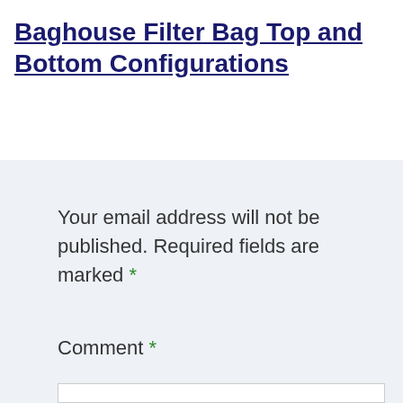Baghouse Filter Bag Top and Bottom Configurations
Your email address will not be published. Required fields are marked *
Comment *